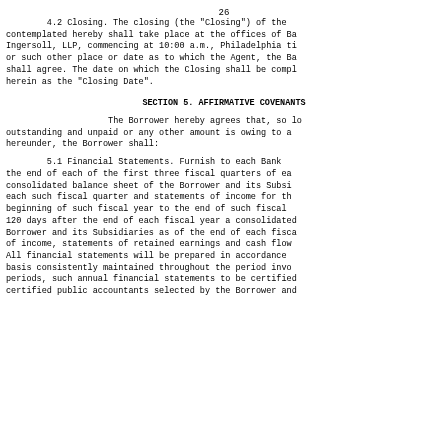26
4.2 Closing. The closing (the "Closing") of the contemplated hereby shall take place at the offices of Ba Ingersoll, LLP, commencing at 10:00 a.m., Philadelphia ti or such other place or date as to which the Agent, the Ba shall agree. The date on which the Closing shall be comp herein as the "Closing Date".
SECTION 5. AFFIRMATIVE COVENANTS
The Borrower hereby agrees that, so lo outstanding and unpaid or any other amount is owing to a hereunder, the Borrower shall:
5.1 Financial Statements. Furnish to each Bank the end of each of the first three fiscal quarters of ea consolidated balance sheet of the Borrower and its Subsi each such fiscal quarter and statements of income for th beginning of such fiscal year to the end of such fiscal 120 days after the end of each fiscal year a consolidated Borrower and its Subsidiaries as of the end of each fisca of income, statements of retained earnings and cash flow All financial statements will be prepared in accordance basis consistently maintained throughout the period invo periods, such annual financial statements to be certifie certified public accountants selected by the Borrower an